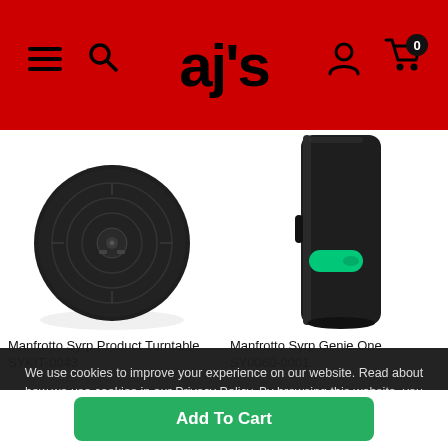ajs
[Figure (photo): Manfrotto Syrp Product Turntable SYKIT-0043 - circular black turntable top-down view]
[Figure (photo): Manfrotto Syrp Genie One SY0060-0001 - black cylindrical camera motion device with green indicator light]
Manfrotto Syrp Product Turntable SYKIT-0043
Manfrotto Syrp Genie One SY0060-0001
We use cookies to improve your experience on our website. Read about how we use cookies in our Privacy Policy. By browsing this website, you agree to our use of cookies.
ACCEPT COOKIES
Privacy Policy
Add To Cart